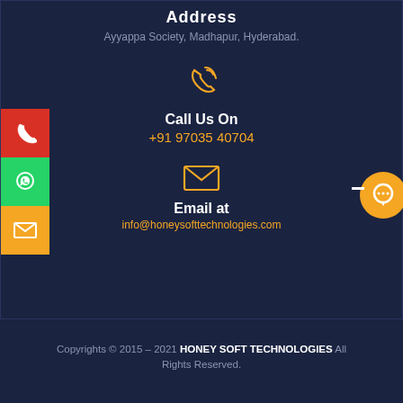Address
Ayyappa Society, Madhapur, Hyderabad.
[Figure (illustration): Orange phone/call icon]
Call Us On
+91 97035 40704
[Figure (illustration): Orange email/envelope icon]
Email at
info@honeysofttechnologies.com
Copyrights © 2015 – 2021 HONEY SOFT TECHNOLOGIES All Rights Reserved.